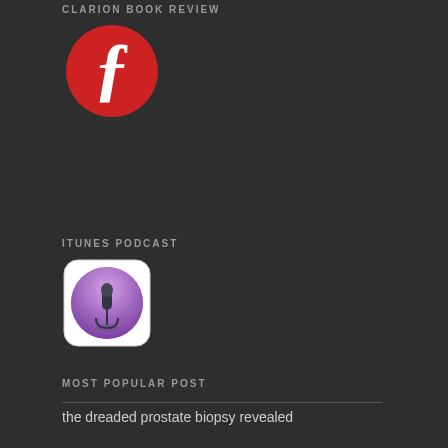CLARION BOOK REVIEW
[Figure (logo): Clarion Book Review logo: red circle with white stylized letter f]
ITUNES PODCAST
[Figure (logo): iTunes Podcast logo: white rounded square with purple microphone icon]
MOST POPULAR POST
the dreaded prostate biopsy revealed
One of Frank Zappa's last interviews before succumbing to prostate cancer at age 52 two years after diagnosis.
The "Decision" Book: An Arrow in Your Quiver.